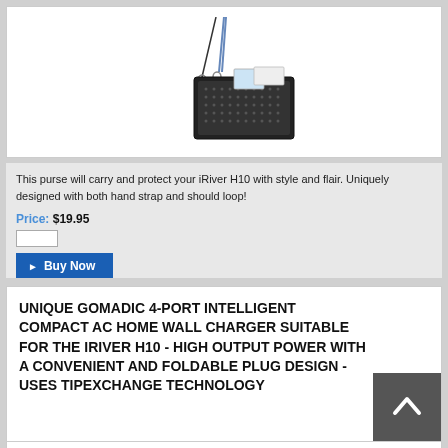[Figure (photo): Product photo of a black purse/case with hand strap and shoulder loop for iRiver H10]
This purse will carry and protect your iRiver H10 with style and flair. Uniquely designed with both hand strap and should loop!
Price: $19.95
▶ Buy Now
UNIQUE GOMADIC 4-PORT INTELLIGENT COMPACT AC HOME WALL CHARGER SUITABLE FOR THE IRIVER H10 - HIGH OUTPUT POWER WITH A CONVENIENT AND FOLDABLE PLUG DESIGN - USES TIPEXCHANGE TECHNOLOGY